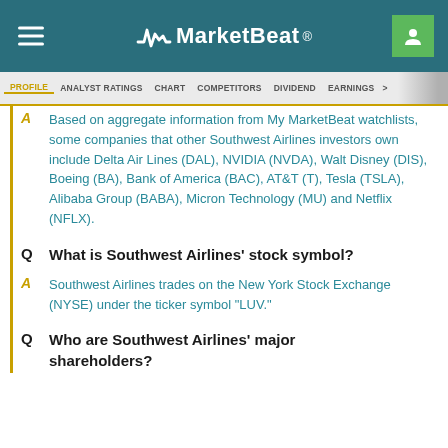MarketBeat
PROFILE  ANALYST RATINGS  CHART  COMPETITORS  DIVIDEND  EARNINGS
Based on aggregate information from My MarketBeat watchlists, some companies that other Southwest Airlines investors own include Delta Air Lines (DAL), NVIDIA (NVDA), Walt Disney (DIS), Boeing (BA), Bank of America (BAC), AT&T (T), Tesla (TSLA), Alibaba Group (BABA), Micron Technology (MU) and Netflix (NFLX).
Q  What is Southwest Airlines' stock symbol?
A  Southwest Airlines trades on the New York Stock Exchange (NYSE) under the ticker symbol "LUV."
Q  Who are Southwest Airlines' major shareholders?